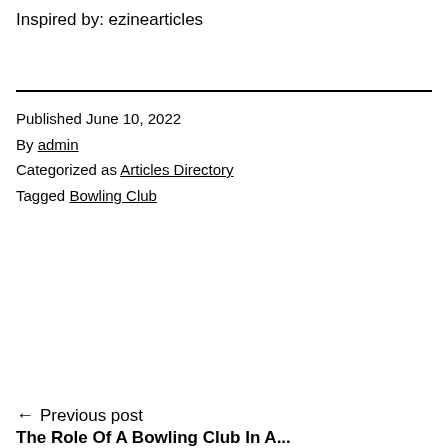Inspired by: ezinearticles
Published June 10, 2022
By admin
Categorized as Articles Directory
Tagged Bowling Club
← Previous post